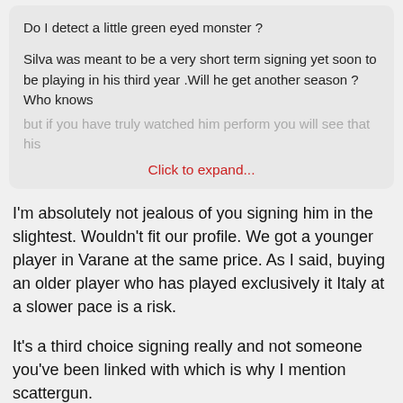Do I detect a little green eyed monster ?
Silva was meant to be a very short term signing yet soon to be playing in his third year .Will he get another season ? Who knows but if you have truly watched him perform you will see that his
Click to expand...
I'm absolutely not jealous of you signing him in the slightest. Wouldn't fit our profile. We got a younger player in Varane at the same price. As I said, buying an older player who has played exclusively it Italy at a slower pace is a risk.
It's a third choice signing really and not someone you've been linked with which is why I mention scattergun.
Not sure what the irony is? You've been chasing everyone this summer, Dembele, Raphinha, Richarlison, Kounde, De Ligt..
Doesn't look like you have a clear plan or set targets.